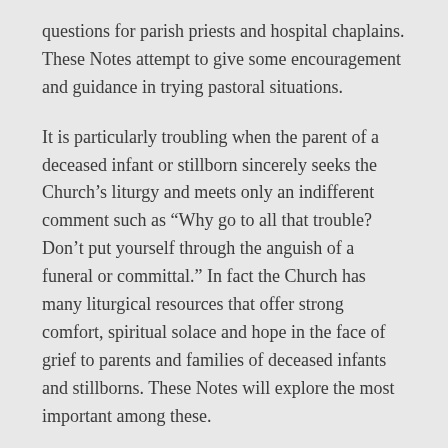questions for parish priests and hospital chaplains. These Notes attempt to give some encouragement and guidance in trying pastoral situations.
It is particularly troubling when the parent of a deceased infant or stillborn sincerely seeks the Church's liturgy and meets only an indifferent comment such as “Why go to all that trouble? Don’t put yourself through the anguish of a funeral or committal.” In fact the Church has many liturgical resources that offer strong comfort, spiritual solace and hope in the face of grief to parents and families of deceased infants and stillborns. These Notes will explore the most important among these.
1. Should we baptize infants who have died or are